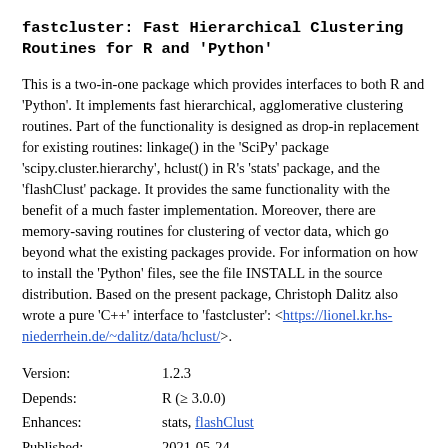fastcluster: Fast Hierarchical Clustering Routines for R and 'Python'
This is a two-in-one package which provides interfaces to both R and 'Python'. It implements fast hierarchical, agglomerative clustering routines. Part of the functionality is designed as drop-in replacement for existing routines: linkage() in the 'SciPy' package 'scipy.cluster.hierarchy', hclust() in R's 'stats' package, and the 'flashClust' package. It provides the same functionality with the benefit of a much faster implementation. Moreover, there are memory-saving routines for clustering of vector data, which go beyond what the existing packages provide. For information on how to install the 'Python' files, see the file INSTALL in the source distribution. Based on the present package, Christoph Dalitz also wrote a pure 'C++' interface to 'fastcluster': <https://lionel.kr.hs-niederrhein.de/~dalitz/data/hclust/>.
| Field | Value |
| --- | --- |
| Version: | 1.2.3 |
| Depends: | R (≥ 3.0.0) |
| Enhances: | stats, flashClust |
| Published: | 2021-05-24 |
| Author: | Daniel Müllner [aut, cph, cre], Google Inc. [cph] |